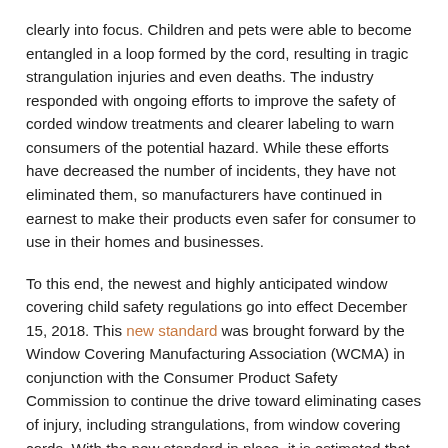clearly into focus. Children and pets were able to become entangled in a loop formed by the cord, resulting in tragic strangulation injuries and even deaths. The industry responded with ongoing efforts to improve the safety of corded window treatments and clearer labeling to warn consumers of the potential hazard. While these efforts have decreased the number of incidents, they have not eliminated them, so manufacturers have continued in earnest to make their products even safer for consumer to use in their homes and businesses.
To this end, the newest and highly anticipated window covering child safety regulations go into effect December 15, 2018. This new standard was brought forward by the Window Covering Manufacturing Association (WCMA) in conjunction with the Consumer Product Safety Commission to continue the drive toward eliminating cases of injury, including strangulations, from window covering cords. With the new standard in place, it is estimated that 90% of the window coverings sold in the United States in 2019 will be cordless or have inaccessible operating cords. The other 10% will be corded window coverings that are required to meet strict performance specifications to ensure cords do not form a hazardous